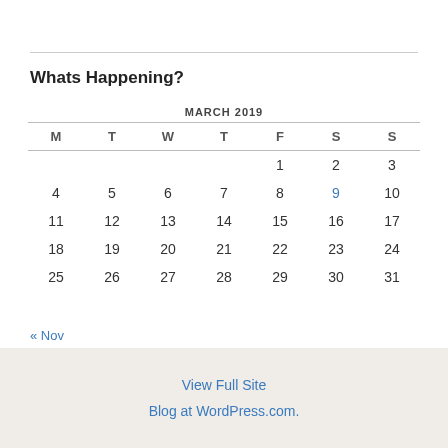Whats Happening?
| M | T | W | T | F | S | S |
| --- | --- | --- | --- | --- | --- | --- |
|  |  |  |  | 1 | 2 | 3 |
| 4 | 5 | 6 | 7 | 8 | 9 | 10 |
| 11 | 12 | 13 | 14 | 15 | 16 | 17 |
| 18 | 19 | 20 | 21 | 22 | 23 | 24 |
| 25 | 26 | 27 | 28 | 29 | 30 | 31 |
« Nov
View Full Site
Blog at WordPress.com.